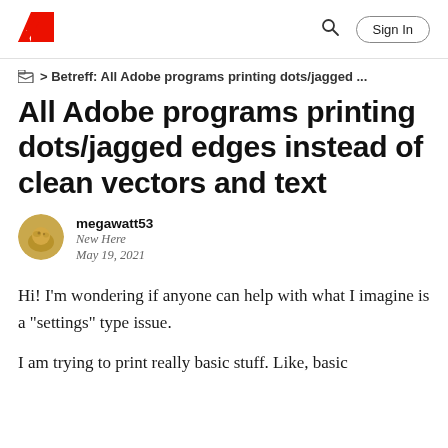Adobe logo | Search | Sign In
> Betreff: All Adobe programs printing dots/jagged ...
All Adobe programs printing dots/jagged edges instead of clean vectors and text
megawatt53
New Here
May 19, 2021
Hi! I'm wondering if anyone can help with what I imagine is a "settings" type issue.
I am trying to print really basic stuff. Like, basic